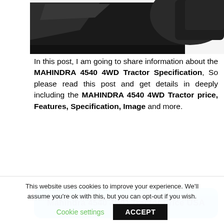[Figure (photo): Partial image of a Mahindra 4540 4WD tractor front loader/bucket attachment in black, cropped at top of page]
In this post, I am going to share information about the MAHINDRA 4540 4WD Tractor Specification, So please read this post and get details in deeply including the MAHINDRA 4540 4WD Tractor price, Features, Specification, Image and more.
Mahindra 4540 4WD Tractor Price USA
This website uses cookies to improve your experience. We'll assume you're ok with this, but you can opt-out if you wish.